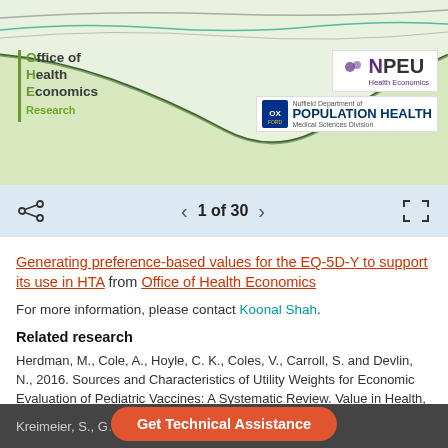[Figure (other): Top banner showing wavy line chart with Office of Health Economics Research logo on left, NPEU Health Economics logo and Nuffield Department of Population Health Oxford logo on right]
1 of 30
Generating preference-based values for the EQ-5D-Y to support its use in HTA from Office of Health Economics
For more information, please contact Koonal Shah.
Related research
Herdman, M., Cole, A., Hoyle, C. K., Coles, V., Carroll, S. and Devlin, N., 2016. Sources and Characteristics of Utility Weights for Economic Evaluation of Pediatric Vaccines: A Systematic Review. Value in Health, 19, pp.255-266. DOI.
Kreimeier, S., G... ...le, A., Devlin,